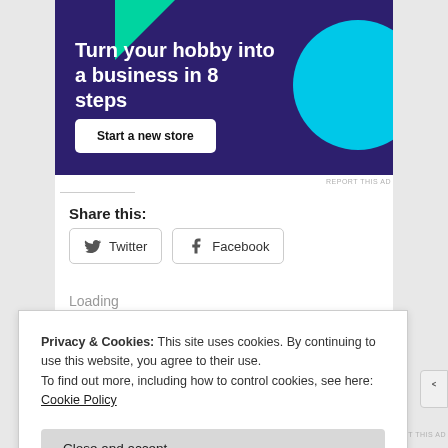[Figure (infographic): Advertisement banner with dark purple background, green triangle top-left, cyan circle right side. Bold white text: 'Turn your hobby into a business in 8 steps'. White button labeled 'Start a new store'.]
REPORT THIS AD
Share this:
Twitter  Facebook
Loading
Privacy & Cookies: This site uses cookies. By continuing to use this website, you agree to their use.
To find out more, including how to control cookies, see here: Cookie Policy
Close and accept